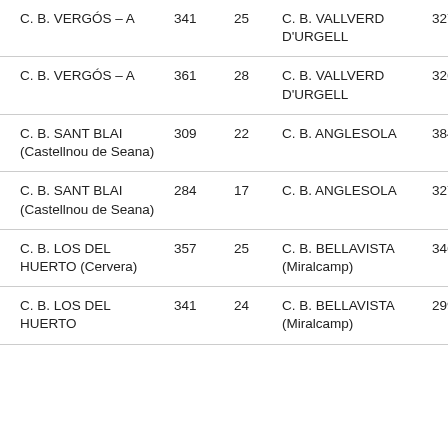| C. B. VERGÓS – A | 341 | 25 | C. B. VALLVERD D'URGELL | 327 | 24 |
| C. B. VERGÓS – A | 361 | 28 | C. B. VALLVERD D'URGELL | 326 | 26 |
| C. B. SANT BLAI (Castellnou de Seana) | 309 | 22 | C. B. ANGLESOLA | 384 | 33 |
| C. B. SANT BLAI (Castellnou de Seana) | 284 | 17 | C. B. ANGLESOLA | 327 | 23 |
| C. B. LOS DEL HUERTO (Cervera) | 357 | 25 | C. B. BELLAVISTA (Miralcamp) | 346 | 28 |
| C. B. LOS DEL HUERTO | 341 | 24 | C. B. BELLAVISTA (Miralcamp) | 299 | 19 |